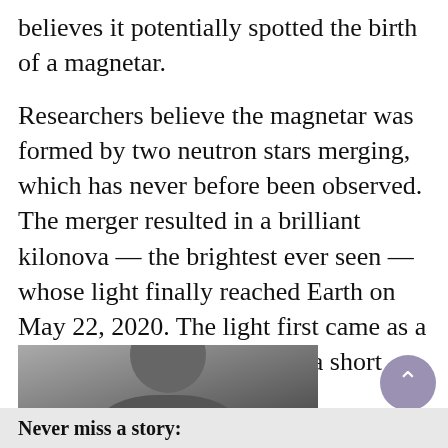believes it potentially spotted the birth of a magnetar.
Researchers believe the magnetar was formed by two neutron stars merging, which has never before been observed. The merger resulted in a brilliant kilonova — the brightest ever seen — whose light finally reached Earth on May 22, 2020. The light first came as a blast of gamma-rays, called a short gamma-ray burst.
[Figure (photo): Partial photo of a person with dark hair against a dark background, cropped at the bottom of the page]
Never miss a story: